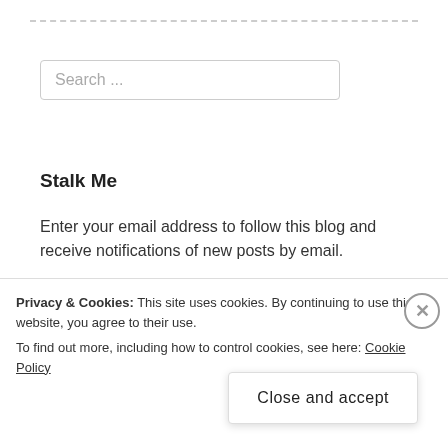[Figure (screenshot): Dashed horizontal divider line near top of page]
Search ...
Stalk Me
Enter your email address to follow this blog and receive notifications of new posts by email.
Enter your email address
Follow
Privacy & Cookies: This site uses cookies. By continuing to use this website, you agree to their use.
To find out more, including how to control cookies, see here: Cookie Policy
Close and accept